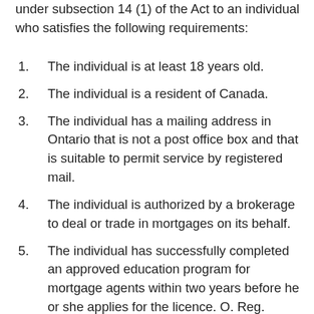under subsection 14 (1) of the Act to an individual who satisfies the following requirements:
The individual is at least 18 years old.
The individual is a resident of Canada.
The individual has a mailing address in Ontario that is not a post office box and that is suitable to permit service by registered mail.
The individual is authorized by a brokerage to deal or trade in mortgages on its behalf.
The individual has successfully completed an approved education program for mortgage agents within two years before he or she applies for the licence. O. Reg.